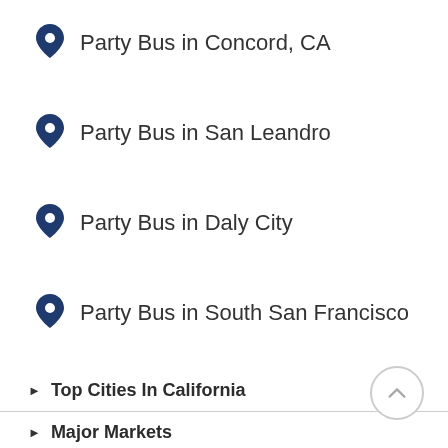Party Bus in Concord, CA
Party Bus in San Leandro
Party Bus in Daly City
Party Bus in South San Francisco
Top Cities In California
Major Markets